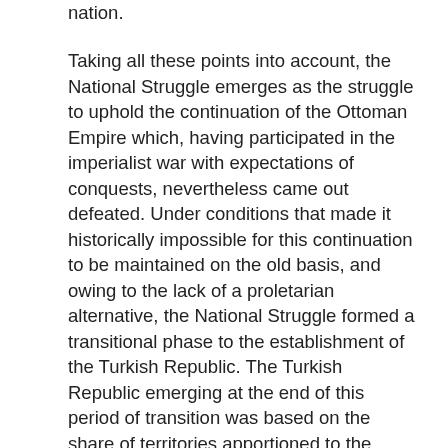nation.
Taking all these points into account, the National Struggle emerges as the struggle to uphold the continuation of the Ottoman Empire which, having participated in the imperialist war with expectations of conquests, nevertheless came out defeated. Under conditions that made it historically impossible for this continuation to be maintained on the old basis, and owing to the lack of a proletarian alternative, the National Struggle formed a transitional phase to the establishment of the Turkish Republic. The Turkish Republic emerging at the end of this period of transition was based on the share of territories apportioned to the defeated Ottoman state following the deals reached by the victorious countries in view of both the balance of forces among them and the existence of nationalist forces in Anatolia. It institutionalised the alliance between the Turkish propertied classes (and the Kurdish propertied classes opting to side with them) and the vestiges of the